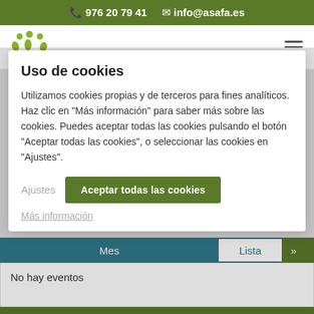976 20 79 41   info@asafa.es
[Figure (logo): ASAFA logo with green stylized figures icon and ASAFA text below]
Uso de cookies
Utilizamos cookies propias y de terceros para fines analíticos. Haz clic en "Más información" para saber más sobre las cookies. Puedes aceptar todas las cookies pulsando el botón "Aceptar todas las cookies", o seleccionar las cookies en "Ajustes".
Ajustes
Aceptar todas las cookies
Más información
| Mes | Lista | » |
| --- | --- | --- |
| No hay eventos |  |  |